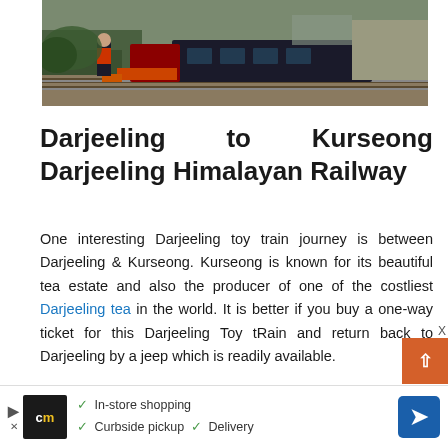[Figure (photo): Photo of the Darjeeling Himalayan Railway toy train on tracks, with workers or people standing near the small red and black steam locomotive. Background shows trees and a hillside.]
Darjeeling to Kurseong Darjeeling Himalayan Railway
One interesting Darjeeling toy train journey is between Darjeeling & Kurseong. Kurseong is known for its beautiful tea estate and also the producer of one of the costliest Darjeeling tea in the world. It is better if you buy a one-way ticket for this Darjeeling Toy tRain and return back to Darjeeling by a jeep which is readily available.
[Figure (other): Advertisement banner at the bottom showing CM logo with yellow text, checkmarks for In-store shopping, Curbside pickup, Delivery, and a blue navigation/directions icon.]